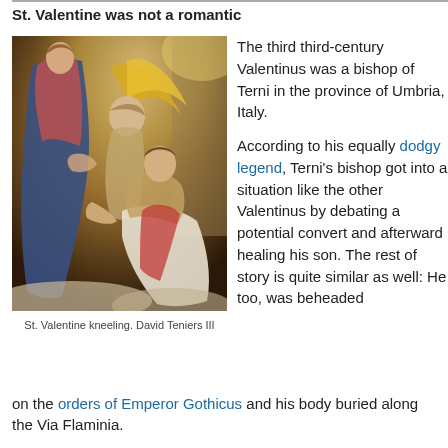St. Valentine was not a romantic
[Figure (photo): Painting of St. Valentine kneeling before figures, including a woman in blue/red robes and an angel with golden wings, described as by David Teniers III]
St. Valentine kneeling. David Teniers III
The third third-century Valentinus was a bishop of Terni in the province of Umbria, Italy.
According to his equally dodgy legend, Terni's bishop got into a situation like the other Valentinus by debating a potential convert and afterward healing his son. The rest of story is quite similar as well: He too, was beheaded on the orders of Emperor Gothicus and his body buried along the Via Flaminia.